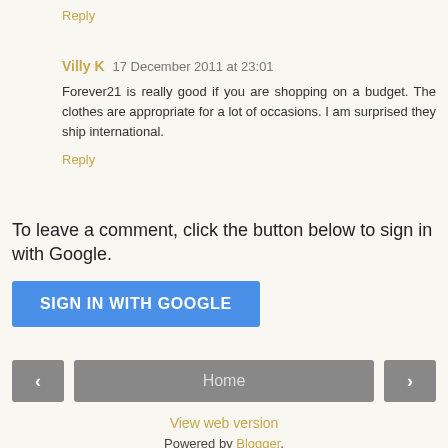Reply
Villy K  17 December 2011 at 23:01
Forever21 is really good if you are shopping on a budget. The clothes are appropriate for a lot of occasions. I am surprised they ship international.
Reply
To leave a comment, click the button below to sign in with Google.
[Figure (other): Blue 'SIGN IN WITH GOOGLE' button]
[Figure (other): Navigation bar with left arrow, Home button, and right arrow]
View web version
Powered by Blogger.